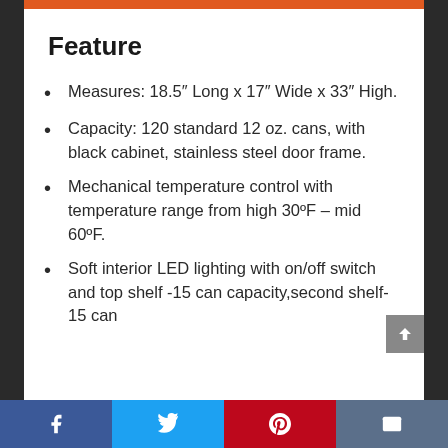Feature
Measures: 18.5″ Long x 17″ Wide x 33″ High.
Capacity: 120 standard 12 oz. cans, with black cabinet, stainless steel door frame.
Mechanical temperature control with temperature range from high 30ºF – mid 60ºF.
Soft interior LED lighting with on/off switch and top shelf -15 can capacity,second shelf- 15 can